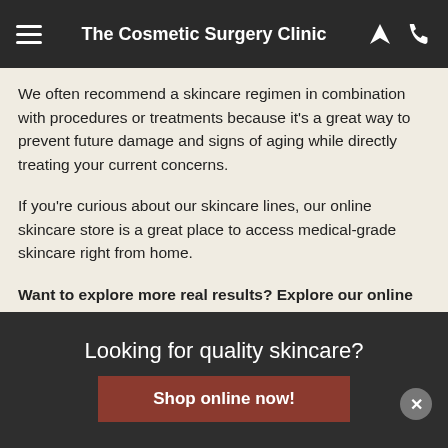The Cosmetic Surgery Clinic
We often recommend a skincare regimen in combination with procedures or treatments because it's a great way to prevent future damage and signs of aging while directly treating your current concerns.
If you're curious about our skincare lines, our online skincare store is a great place to access medical-grade skincare right from home.
Want to explore more real results? Explore our online galleries or get started on your own results by booking a consultation with us today.
Looking for quality skincare?
Shop online now!